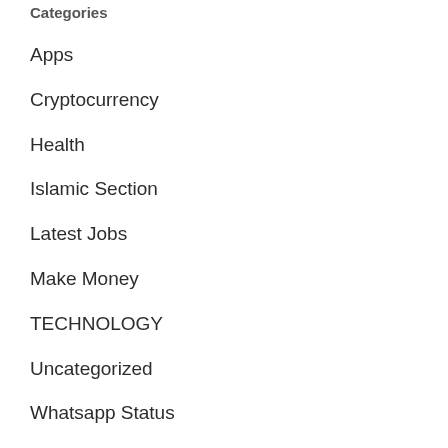Categories
Apps
Cryptocurrency
Health
Islamic Section
Latest Jobs
Make Money
TECHNOLOGY
Uncategorized
Whatsapp Status